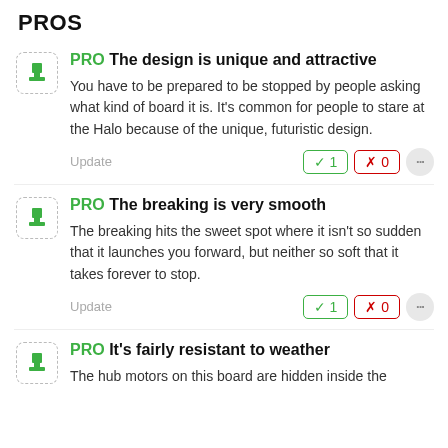PROS
PRO The design is unique and attractive
You have to be prepared to be stopped by people asking what kind of board it is. It's common for people to stare at the Halo because of the unique, futuristic design.
Update ✓1 ✗0
PRO The breaking is very smooth
The breaking hits the sweet spot where it isn't so sudden that it launches you forward, but neither so soft that it takes forever to stop.
Update ✓1 ✗0
PRO It's fairly resistant to weather
The hub motors on this board are hidden inside the